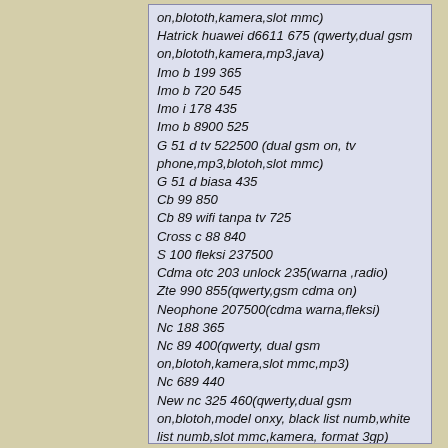on,blototh,kamera,slot mmc)
Hatrick huawei d6611 675 (qwerty,dual gsm on,blototh,kamera,mp3,java)
Imo b 199 365
Imo b 720 545
Imo i 178 435
Imo b 8900 525
G 51 d tv 522500 (dual gsm on, tv phone,mp3,blotoh,slot mmc)
G 51 d biasa 435
Cb 99 850
Cb 89 wifi tanpa tv 725
Cross c 88 840
S 100 fleksi 237500
Cdma otc 203 unlock 235(warna ,radio)
Zte 990 855(qwerty,gsm cdma on)
Neophone 207500(cdma warna,fleksi)
Nc 188 365
Nc 89 400(qwerty, dual gsm on,blotoh,kamera,slot mmc,mp3)
Nc 689 440
New nc 325 460(qwerty,dual gsm on,blotoh,model onxy, black list numb,white list numb,slot mmc,kamera, format 3gp)
Nc 970 g 900
Nc 777g 755 (qwerty ,tv phone,dual gsm on,track ball ,mp3,slot mmc)
Nex 381 i 320
Nex 501 485
Nex 901 tv 705